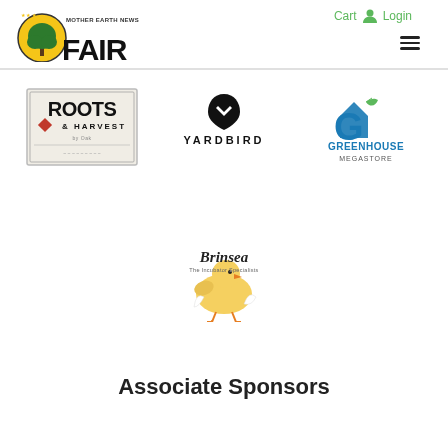Mother Earth News Fair — Cart Login navigation header
[Figure (logo): Mother Earth News Fair logo — tree icon with yellow circle and FAIR text]
[Figure (logo): Roots & Harvest by OAK sponsor logo — rectangular badge style]
[Figure (logo): Yardbird sponsor logo — bird/wing icon above YARDBIRD text]
[Figure (logo): Greenhouse Megastore sponsor logo — blue house with green leaf and G letter]
[Figure (logo): Brinsea The Incubator Specialists sponsor logo — baby chick hatching from egg]
Associate Sponsors